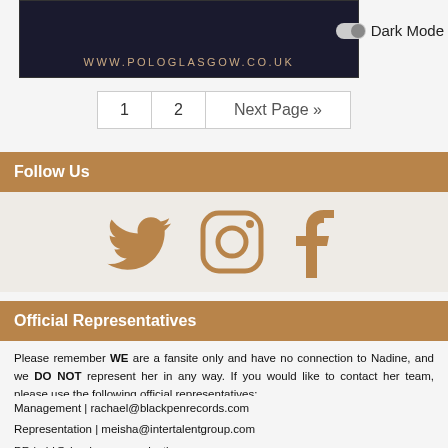[Figure (screenshot): Website screenshot showing www.pologlasgow.co.uk on dark background with a dark mode toggle]
Dark Mode
1  2  Next Page »
Follow Us
[Figure (illustration): Social media icons: Twitter bird, Instagram camera, Facebook F — all in bronze/tan color]
Official Representatives
Please remember WE are a fansite only and have no connection to Nadine, and we DO NOT represent her in any way. If you would like to contact her team, please use the following official representatives:
Management | rachael@blackpenrecords.com
Representation | meisha@intertalentgroup.com
PR | abi@dundascommunications.com